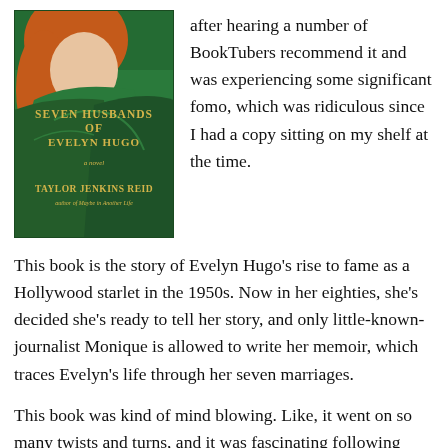[Figure (illustration): Book cover of 'The Seven Husbands of Evelyn Hugo' by Taylor Jenkins Reid — green background with a woman's face partially visible, gold lettering for title and author name, subtitle 'a novel', and 'author of Maybe in Another Life' at the bottom.]
after hearing a number of BookTubers recommend it and was experiencing some significant fomo, which was ridiculous since I had a copy sitting on my shelf at the time.
This book is the story of Evelyn Hugo's rise to fame as a Hollywood starlet in the 1950s. Now in her eighties, she's decided she's ready to tell her story, and only little-known-journalist Monique is allowed to write her memoir, which traces Evelyn's life through her seven marriages.
This book was kind of mind blowing. Like, it went on so many twists and turns, and it was fascinating following Evelyn Hugo's life. And of course it had to connect to